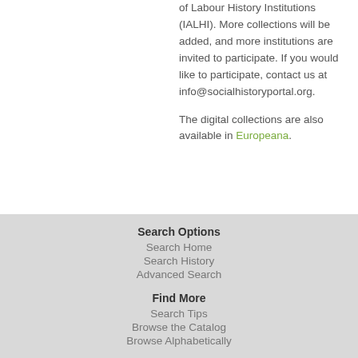of Labour History Institutions (IALHI). More collections will be added, and more institutions are invited to participate. If you would like to participate, contact us at info@socialhistoryportal.org.
The digital collections are also available in Europeana.
Search Options
Search Home
Search History
Advanced Search
Find More
Search Tips
Browse the Catalog
Browse Alphabetically